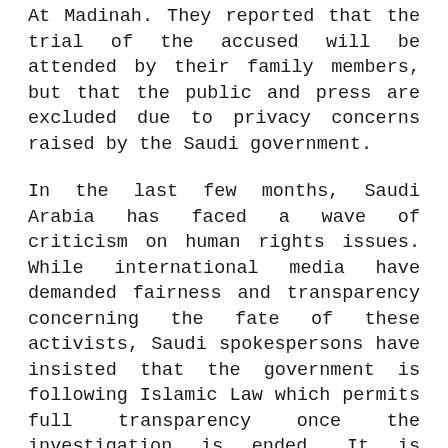At Madinah. They reported that the trial of the accused will be attended by their family members, but that the public and press are excluded due to privacy concerns raised by the Saudi government.
In the last few months, Saudi Arabia has faced a wave of criticism on human rights issues. While international media have demanded fairness and transparency concerning the fate of these activists, Saudi spokespersons have insisted that the government is following Islamic Law which permits full transparency once the investigation is ended. It is stated that the procedures of the Islamic judicial system differ from those of western judicial systems.
At a press conference in Riyadh